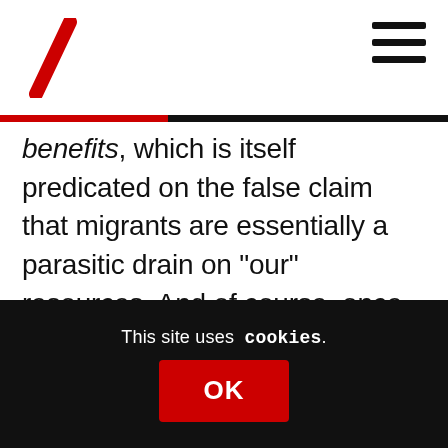[Figure (logo): Red diagonal slash logo mark in top left corner]
[Figure (illustration): Hamburger menu icon (three horizontal lines) in top right corner]
benefits, which is itself predicated on the false claim that migrants are essentially a parasitic drain on “our” resources. And of course, once the logic of only being able to draw out benefit system what you have paid in is accepted, we can be sure that it will be extended from migrants to all inhabitants of the UK, be they ever-so white and their lineages of the purest Anglo-Saxon. Second, it means participating in a full-spectrum (i.e. not just in relation to migration) rightward-
This site uses cookies.
OK